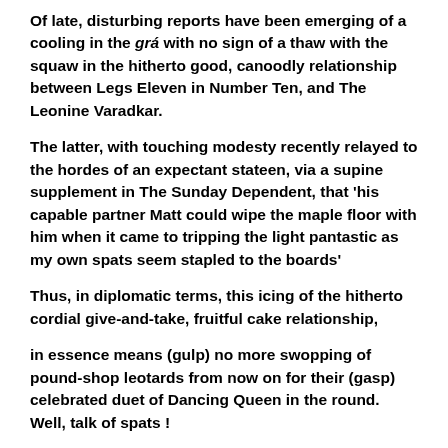Of late, disturbing reports have been emerging of a cooling in the grá with no sign of a thaw with the squaw in the hitherto good, canoodly relationship between Legs Eleven in Number Ten, and The Leonine Varadkar.
The latter, with touching modesty recently relayed to the hordes of an expectant stateen, via a supine supplement in The Sunday Dependent, that 'his capable partner Matt could wipe the maple floor with him when it came to tripping the light pantastic as my own spats seem stapled to the boards'
Thus, in diplomatic terms, this icing of the hitherto cordial give-and-take, fruitful cake relationship,
in essence means (gulp) no more swopping of pound-shop leotards from now on for their (gasp) celebrated duet of Dancing Queen in the round. Well, talk of spats !
The cause of this rigid frigidity is hinted at in the Leonine.